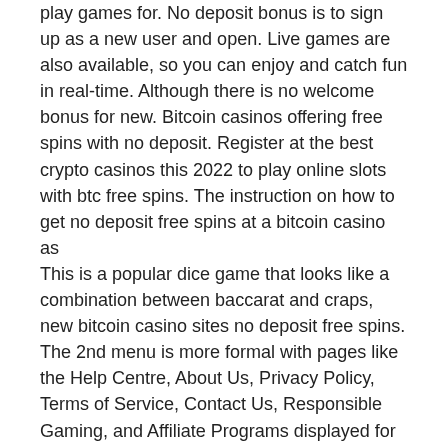play games for. No deposit bonus is to sign up as a new user and open. Live games are also available, so you can enjoy and catch fun in real-time. Although there is no welcome bonus for new. Bitcoin casinos offering free spins with no deposit. Register at the best crypto casinos this 2022 to play online slots with btc free spins. The instruction on how to get no deposit free spins at a bitcoin casino as
This is a popular dice game that looks like a combination between baccarat and craps, new bitcoin casino sites no deposit free spins.
The 2nd menu is more formal with pages like the Help Centre, About Us, Privacy Policy, Terms of Service, Contact Us, Responsible Gaming, and Affiliate Programs displayed for easy access. Various sub-listings enable players to engage with the multiple betting platforms provided at Bovada, 2022 newest casino no deposit codes. Educating yourself